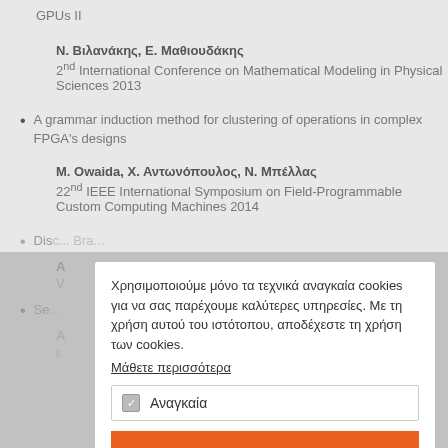GPUs II
Ν. Βιλανάκης, Ε. Μαθιουδάκης
2nd International Conference on Mathematical Modeling in Physical Sciences 2013
A grammar induction method for clustering of operations in complex FPGA's designs
Μ. Owaida, Χ. Αντωνόπουλος, Ν. Μπέλλας
22nd IEEE International Symposium on Field-Programmable Custom Computing Machines 2014
Dis... Bra...
Α... Ζαγδό... ς
V... μ...
Se...
Α... ε...
Χρησιμοποιούμε μόνο τα τεχνικά αναγκαία cookies για να σας παρέχουμε καλύτερες υπηρεσίες. Με τη χρήση αυτού του ιστότοπου, αποδέχεστε τη χρήση των cookies. Μάθετε περισσότερα
Αναγκαία
ΟΚ